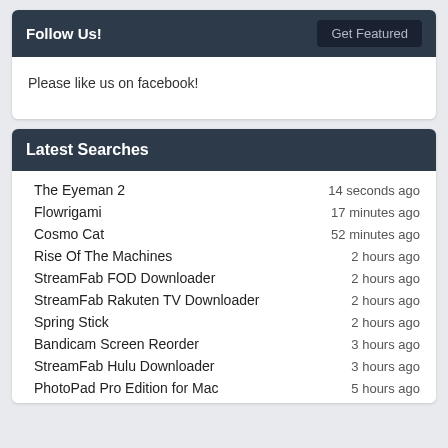Follow Us!
Please like us on facebook!
Latest Searches
The Eyeman 2 — 14 seconds ago
Flowrigami — 17 minutes ago
Cosmo Cat — 52 minutes ago
Rise Of The Machines — 2 hours ago
StreamFab FOD Downloader — 2 hours ago
StreamFab Rakuten TV Downloader — 2 hours ago
Spring Stick — 2 hours ago
Bandicam Screen Reorder — 3 hours ago
StreamFab Hulu Downloader — 3 hours ago
PhotoPad Pro Edition for Mac — 5 hours ago